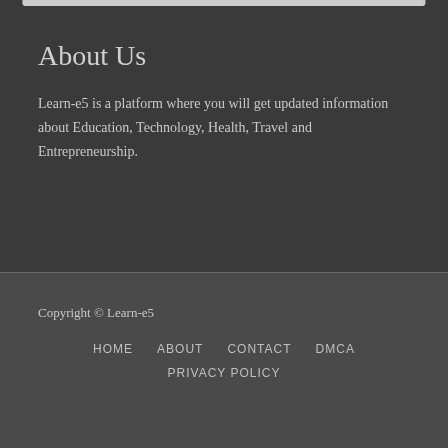About Us
Learn-e5 is a platform where you will get updated information about Education, Technology, Health, Travel and Entrepreneurship.
Copyright © Learn-e5
HOME
ABOUT
CONTACT
DMCA
PRIVACY POLICY